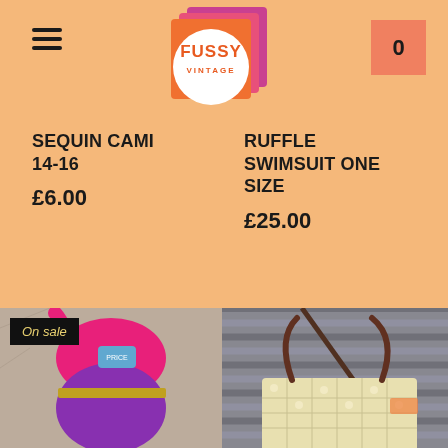[Figure (logo): Fussy Vintage logo: stacked orange/pink squares with white circle containing 'FUSSY VINTAGE' text in orange bubbly font]
0
SEQUIN CAMI 14-16
£6.00
RUFFLE SWIMSUIT ONE SIZE
£25.00
[Figure (photo): Pink and purple vintage ruffle swimsuit laid flat on a rocky surface, with blue price tag, labeled 'On sale']
[Figure (photo): Vintage structured handbag with brown leather handles and cream/ivory quilted rectangular body with pearlescent panels, on grey slatted surface]